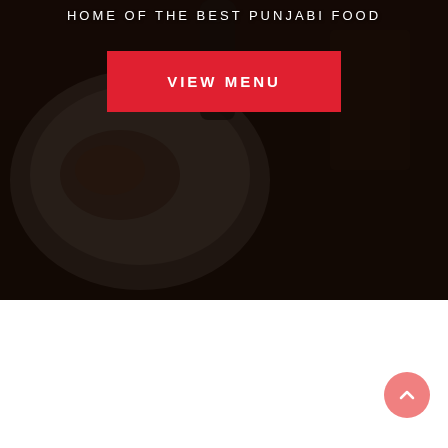[Figure (photo): Dark restaurant food photo background showing a white plate with food items on a dark table, dimly lit atmosphere]
HOME OF THE BEST PUNJABI FOOD
VIEW MENU
[Figure (illustration): Pink/salmon colored circular back-to-top button with upward chevron arrow icon, positioned in lower right corner]